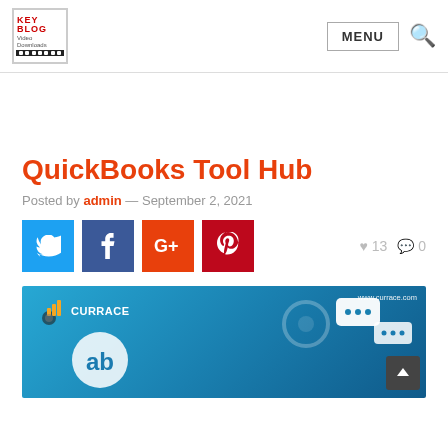KEY BLOG — MENU [search]
QuickBooks Tool Hub
Posted by admin — September 2, 2021
[Figure (infographic): Social sharing buttons: Twitter, Facebook, Google, Pinterest. Like count: 13, Comment count: 0]
[Figure (illustration): Hero image with blue gradient background showing CURRACE logo (flame/bar chart icon + text), QuickBooks logo (ab letters in circle), chat/messaging icons, and www.currace.com URL. Bottom right has dark back-to-top button with upward chevron.]